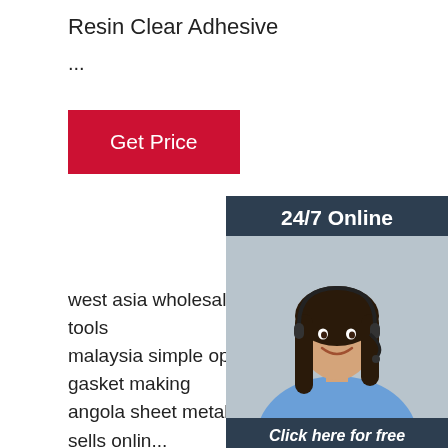Resin Clear Adhesive
...
[Figure (other): Red 'Get Price' button]
[Figure (photo): 24/7 Online customer service agent photo with headset, side panel with 'Click here for free chat!' and orange QUOTATION button]
west asia wholesale sheet metal fabrication tools
malaysia simple operating parameters gasket making
angola sheet metal stamping press machine sells online
quick install polyurethane adhesive direct manufactur...
southern europe high-quality inexpensive strip sealing...
turkey simple strip sealing machine
simplified production adhesive dispensing machine manufacturer
what s transparent box gasket dispensing machine
15years usage life cable terminal box sealing gasket manufacturer
belgium 2021 explosion fipfg pu injection machine
west africa better quality air filters glue filling machine
[Figure (logo): TOP logo with orange dots forming a triangle above the word TOP in orange/red]